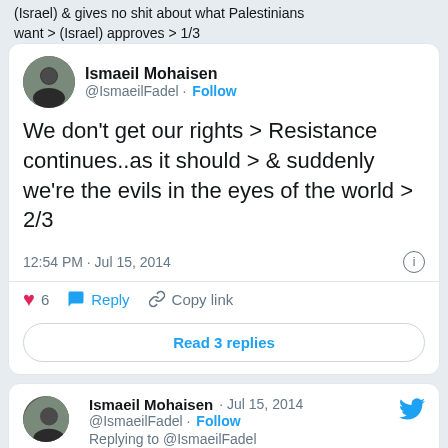(Israel) & gives no shit about what Palestinians want > (Israel) approves > 1/3
Ismaeil Mohaisen @IsmaeilFadel · Follow
We don't get our rights > Resistance continues..as it should > & suddenly we're the evils in the eyes of the world > 2/3
12:54 PM · Jul 15, 2014
6   Reply   Copy link
Read 3 replies
Ismaeil Mohaisen · Jul 15, 2014 @IsmaeilFadel · Follow Replying to @IsmaeilFadel
We don't get our rights > Resistance continues, as it should > & suddenly we're the